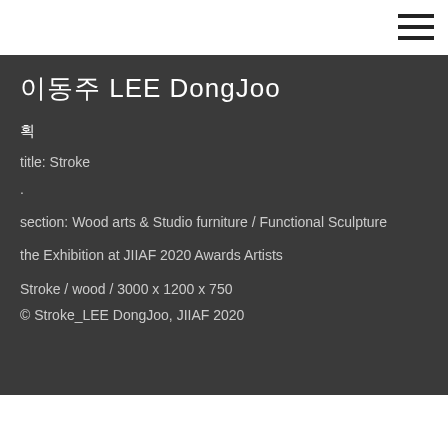[Figure (other): Hamburger menu icon (three horizontal lines) in top-right corner]
이동주 LEE DongJoo
획
title: Stroke
.
section: Wood arts & Studio furniture / Functional Sculpture
the Exhibition at JIIAF 2020 Awards Artists
Stroke / wood / 3000 x 1200 x 750
© Stroke_LEE DongJoo, JIIAF 2020